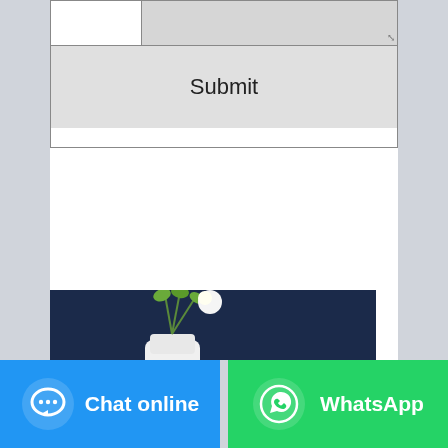[Figure (screenshot): A web form with a text input row and a Submit button on a light gray background]
[Figure (photo): Photo of a Softee tissue box and white flower vase against a dark navy blue background]
[Figure (screenshot): Bottom navigation bar with two buttons: blue Chat online button on the left with chat bubble icon, and green WhatsApp button on the right with WhatsApp icon]